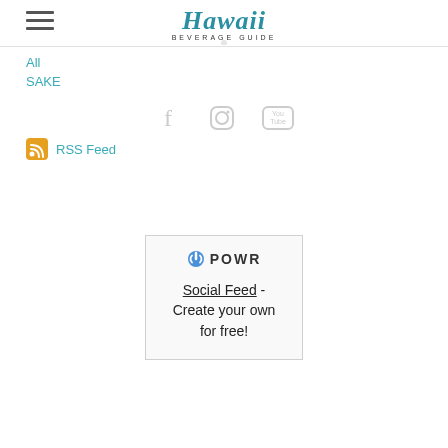Hawaii Beverage Guide
All
SAKE
[Figure (other): Social media icons: Facebook, Instagram, YouTube]
RSS Feed
[Figure (infographic): POWR Social Feed widget - Create your own for free!]